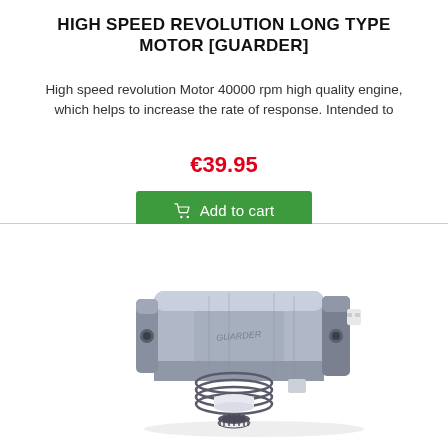HIGH SPEED REVOLUTION LONG TYPE MOTOR [GUARDER]
High speed revolution Motor 40000 rpm high quality engine, which helps to increase the rate of response. Intended to
€39.95
Add to cart
[Figure (photo): Photo of a Guarder high speed revolution long type motor — a cylindrical grey motor body with spring and pinion gear assembly at one end and connector at the other end.]